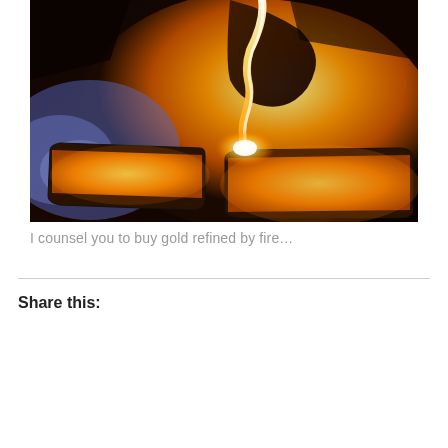[Figure (photo): Molten gold being poured into bar molds, glowing orange and yellow against dark background with blue flames visible on the left side.]
I counsel you to buy gold refined by fire…
Share this:
[Figure (infographic): Social share buttons: Facebook (blue circle), Twitter (blue circle), and a More button with share icon. Below: a Like button with star icon and a blogger avatar. Text reads: One blogger likes this.]